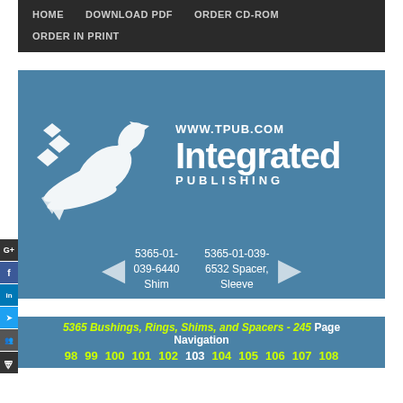HOME   DOWNLOAD PDF   ORDER CD-ROM   ORDER IN PRINT
[Figure (logo): Integrated Publishing logo with bird graphic and URL www.tpub.com]
5365-01-039-6440 Shim     5365-01-039-6532 Spacer, Sleeve
5365 Bushings, Rings, Shims, and Spacers - 245 Page Navigation
98 99 100 101 102 103 104 105 106 107 108